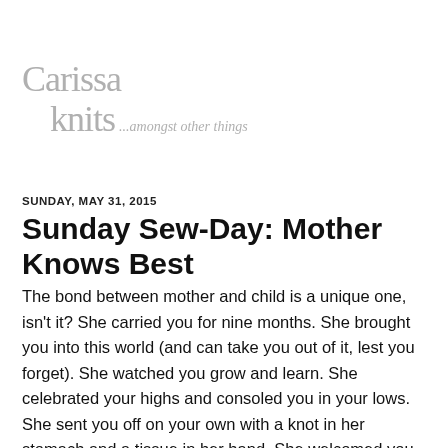[Figure (logo): Carissa Knits blog logo — stylized gray serif text reading 'Carissa knits ...amongst other things']
SUNDAY, MAY 31, 2015
Sunday Sew-Day: Mother Knows Best
The bond between mother and child is a unique one, isn't it? She carried you for nine months. She brought you into this world (and can take you out of it, lest you forget). She watched you grow and learn. She celebrated your highs and consoled you in your lows. She sent you off on your own with a knot in her stomach and a tissue in her hand. She welcomed you home for every holiday with a hug that lasted what would be an inappropriate amount of time were it anyone else. She mailed you polka dots clothes to refashion